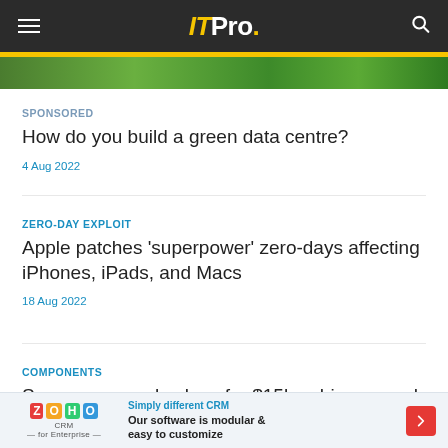ITPro.
[Figure (photo): Green foliage image strip]
SPONSORED
How do you build a green data centre?
4 Aug 2022
ZERO-DAY EXPLOIT
Apple patches 'superpower' zero-days affecting iPhones, iPads, and Macs
18 Aug 2022
COMPONENTS
Samsung reveals plans for $15bn chip research center to break semiconductor scaling barriers
[Figure (infographic): Zoho CRM advertisement banner: Simply different CRM. Our software is modular & easy to customize]